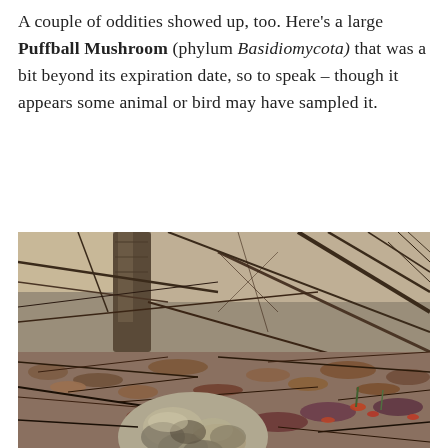A couple of oddities showed up, too. Here's a large Puffball Mushroom (phylum Basidiomycota) that was a bit beyond its expiration date, so to speak – though it appears some animal or bird may have sampled it.
[Figure (photo): A photograph of a forest floor showing dry twigs, dead leaves, and a large puffball mushroom in the foreground, partially decomposed and possibly nibbled by an animal. Background shows tree trunks and tangled branches.]